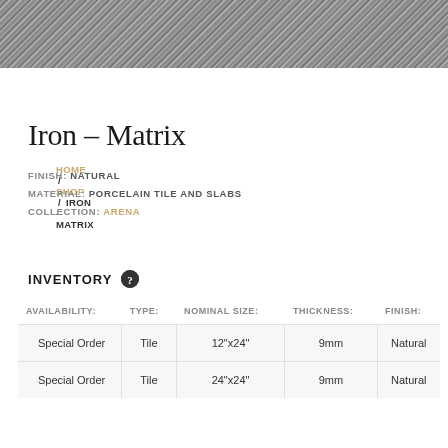[Figure (photo): Close-up texture of gray speckled material (porcelain tile surface - Iron Matrix), showing a rough stone-like finish with dark and light flecks.]
HOME / SHOP / IRON – MATRIX
Iron – Matrix
FINISH: NATURAL
MATERIAL: PORCELAIN TILE AND SLABS
COLLECTION: ARENA
INVENTORY
| AVAILABILITY: | TYPE: | NOMINAL SIZE: | THICKNESS: | FINISH: |
| --- | --- | --- | --- | --- |
| Special Order | Tile | 12"x24" | 9mm | Natural |
| Special Order | Tile | 24"x24" | 9mm | Natural |